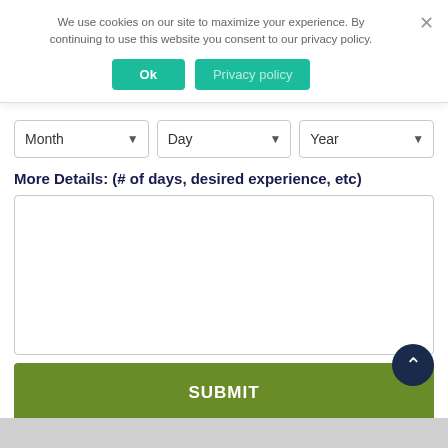We use cookies on our site to maximize your experience. By continuing to use this website you consent to our privacy policy.
Ok   Privacy policy   ×
Month  Day  Year
More Details: (# of days, desired experience, etc)
SUBMIT